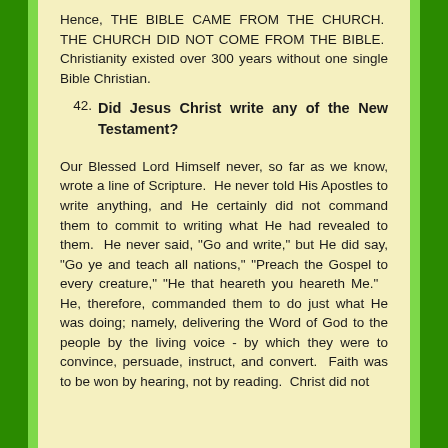Hence, THE BIBLE CAME FROM THE CHURCH. THE CHURCH DID NOT COME FROM THE BIBLE. Christianity existed over 300 years without one single Bible Christian.
42. Did Jesus Christ write any of the New Testament?
Our Blessed Lord Himself never, so far as we know, wrote a line of Scripture. He never told His Apostles to write anything, and He certainly did not command them to commit to writing what He had revealed to them. He never said, "Go and write," but He did say, "Go ye and teach all nations," "Preach the Gospel to every creature," "He that heareth you heareth Me." He, therefore, commanded them to do just what He was doing; namely, delivering the Word of God to the people by the living voice - by which they were to convince, persuade, instruct, and convert. Faith was to be won by hearing, not by reading. Christ did not